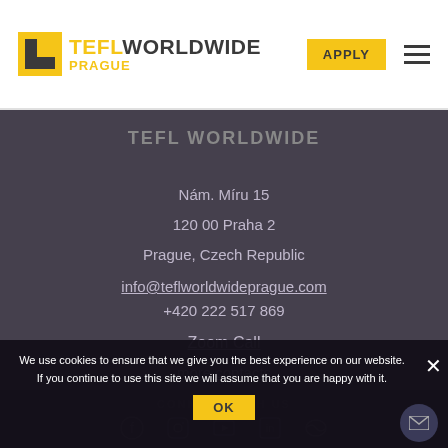TEFL WORLDWIDE PRAGUE
TEFL WORLDWIDE
Nám. Míru 15
120 00 Praha 2
Prague, Czech Republic
info@teflworldwideprague.com
+420 222 517 869
Zoom Call
more contacts
We use cookies to ensure that we give you the best experience on our website. If you continue to use this site we will assume that you are happy with it.